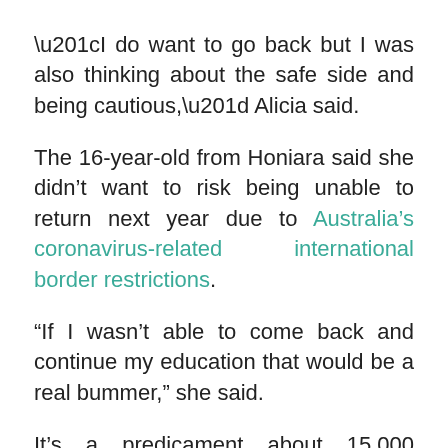“I do want to go back but I was also thinking about the safe side and being cautious,” Alicia said.
The 16-year-old from Honiara said she didn’t want to risk being unable to return next year due to Australia’s coronavirus-related international border restrictions.
“If I wasn’t able to come back and continue my education that would be a real bummer,” she said.
It’s a predicament about 15,000 international students face with only a few weeks left of school.
The ABC understands the federal Education Department has warned parents that any student